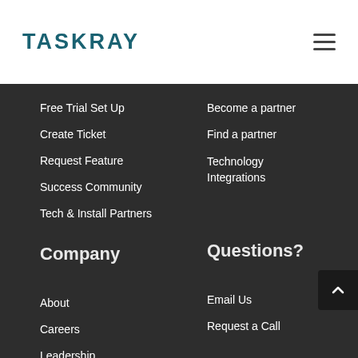[Figure (logo): TASKRAY logo in teal/dark cyan color]
Free Trial Set Up
Create Ticket
Request Feature
Success Community
Tech & Install Partners
Become a partner
Find a partner
Technology Integrations
Company
Questions?
About
Careers
Leadership
Email Us
Request a Call